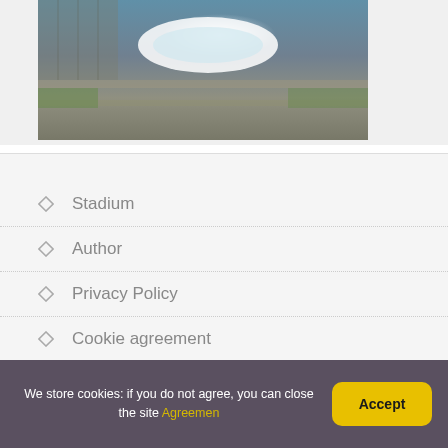[Figure (photo): Aerial photograph of a stadium with a white curved roof, surrounded by roads and green areas, viewed from above.]
Stadium
Author
Privacy Policy
Cookie agreement
We store cookies: if you do not agree, you can close the site Agreemen
Accept